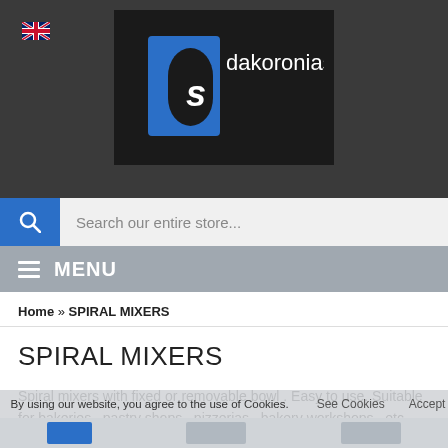[Figure (logo): Dakoronias logo: dark background with blue letter D shape and 'dakoronias' text in white]
Search our entire store...
MENU
Home » SPIRAL MIXERS
SPIRAL MIXERS
Spiral mixers with fixed or removable bowl . Easy to use. Suitable for bakeries , pastry shops , pizzerias , bakery workshops , etc.
By using our website, you agree to the use of Cookies.
See Cookies   Accept